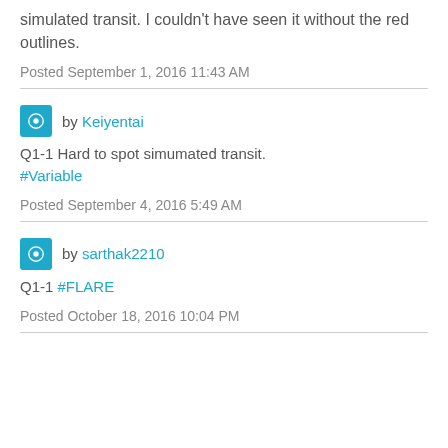simulated transit. I couldn't have seen it without the red outlines.
Posted September 1, 2016 11:43 AM
by Keiyentai
Q1-1 Hard to spot simumated transit. #Variable
Posted September 4, 2016 5:49 AM
by sarthak2210
Q1-1 #FLARE
Posted October 18, 2016 10:04 PM